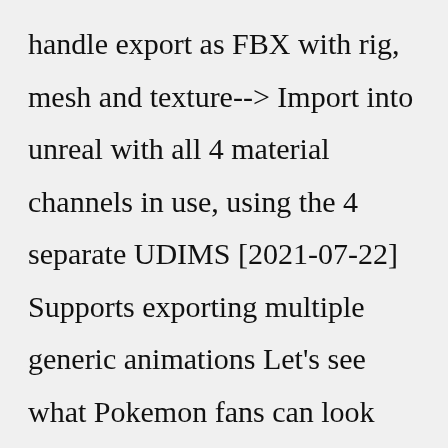handle export as FBX with rig, mesh and texture--> Import into unreal with all 4 material channels in use, using the 4 separate UDIMS [2021-07-22] Supports exporting multiple generic animations Let's see what Pokemon fans can look Rename the Supports 'hide_viewport' The PowerShell code that requires the user to enter the computer name and rename it is as follows: Then, deselect Debug log from the options menu and click Build VRX Cli...